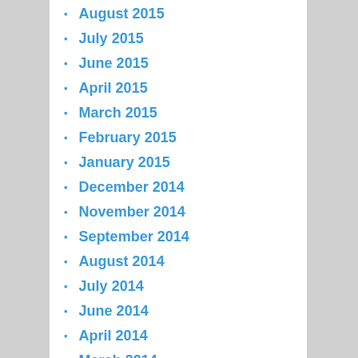August 2015
July 2015
June 2015
April 2015
March 2015
February 2015
January 2015
December 2014
November 2014
September 2014
August 2014
July 2014
June 2014
April 2014
March 2014
February 2014
January 2014
November 2013
October 2013
September 2013
August 2013
July 2013